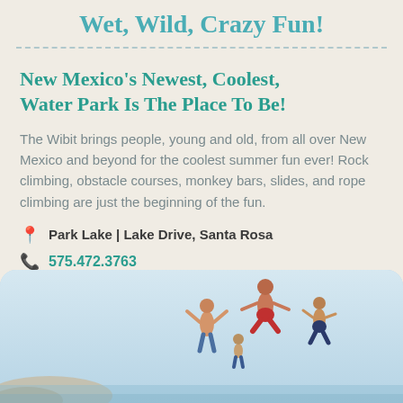Wet, Wild, Crazy Fun!
New Mexico's Newest, Coolest, Water Park Is The Place To Be!
The Wibit brings people, young and old, from all over New Mexico and beyond for the coolest summer fun ever! Rock climbing, obstacle courses, monkey bars, slides, and rope climbing are just the beginning of the fun.
Park Lake | Lake Drive, Santa Rosa
575.472.3763
[Figure (photo): People jumping into water at a lake, silhouetted against a light blue sky]